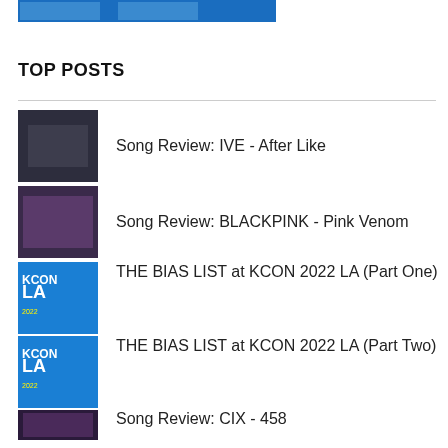[Figure (screenshot): Cropped top image showing partial banner or header graphic]
TOP POSTS
Song Review: IVE - After Like
Song Review: BLACKPINK - Pink Venom
THE BIAS LIST at KCON 2022 LA (Part One)
THE BIAS LIST at KCON 2022 LA (Part Two)
Song Review: CIX - 458
Song Review: IVE - Love Dive
Song Review: Leo (VIXX) - Losing Game